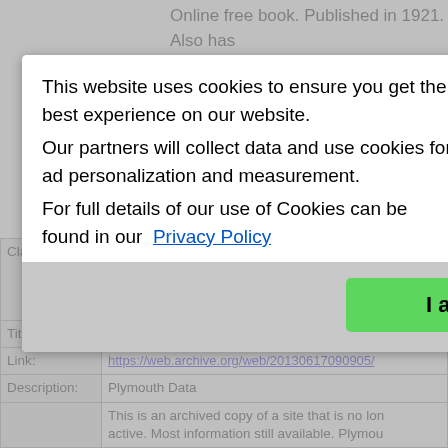Online free book. Published in 1921. Also has so a list of ockmakers
This website uses cookies to ensure you get the best experience on our website.
Our partners will collect data and use cookies for ad personalization and measurement.
For full details of our use of Cookies can be found in our Privacy Policy
I accept
Back to top!
| Label | Value |
| --- | --- |
| Classification: | Street Directories / Gazetteers / Maps, Institutions, Workhouses / Hospitals etc., Associations and Officials Lists, Occupations / Trades / Apprentices Other Records, Photographs / Pictures |
| Title: | Plymouth Data |
| Link: | https://web.archive.org/web/20130617090905/ |
| Description: | Plymouth Data |
|  | This is an archived copy of a site that is no longer active. Most information still available. Plymouth |